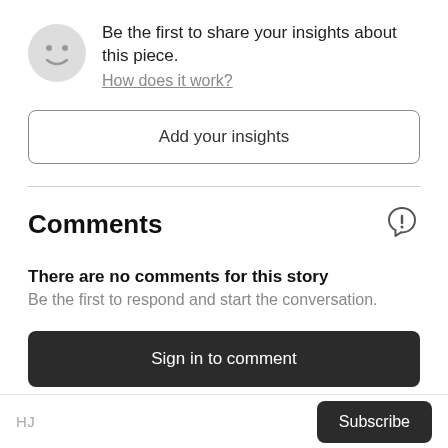[Figure (illustration): Gray circle avatar with a simple smiley face icon]
Be the first to share your insights about this piece.
How does it work?
Add your insights
Comments
[Figure (illustration): Shield with exclamation mark icon]
There are no comments for this story
Be the first to respond and start the conversation.
Sign in to comment
HJ   Subscribe